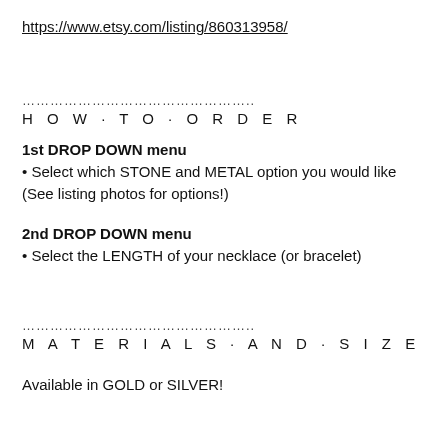https://www.etsy.com/listing/860313958/
………………………………………….
H O W · T O · O R D E R
1st DROP DOWN menu
• Select which STONE and METAL option you would like (See listing photos for options!)
2nd DROP DOWN menu
• Select the LENGTH of your necklace (or bracelet)
………………………………………….
M A T E R I A L S · A N D · S I Z E
Available in GOLD or SILVER!